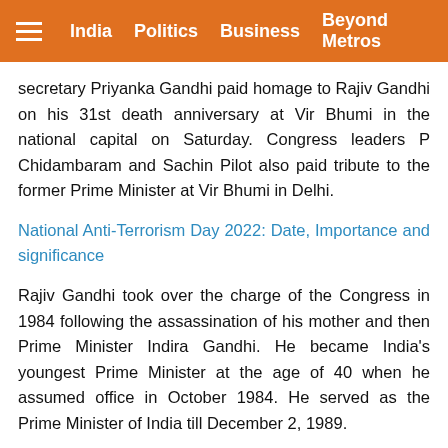India   Politics   Business   Beyond Metros
secretary Priyanka Gandhi paid homage to Rajiv Gandhi on his 31st death anniversary at Vir Bhumi in the national capital on Saturday. Congress leaders P Chidambaram and Sachin Pilot also paid tribute to the former Prime Minister at Vir Bhumi in Delhi.
National Anti-Terrorism Day 2022: Date, Importance and significance
Rajiv Gandhi took over the charge of the Congress in 1984 following the assassination of his mother and then Prime Minister Indira Gandhi. He became India's youngest Prime Minister at the age of 40 when he assumed office in October 1984. He served as the Prime Minister of India till December 2, 1989.